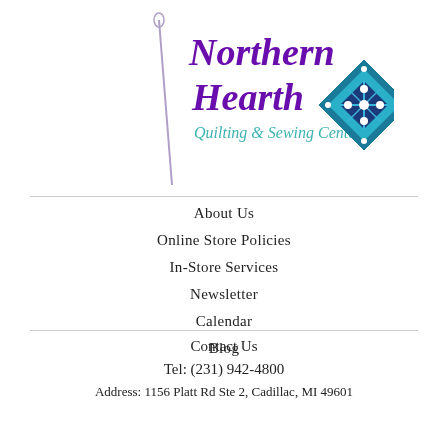[Figure (logo): Northern Hearth Quilting & Sewing Center LLC logo with needle graphic and teal diamond quilt block]
About Us
Online Store Policies
In-Store Services
Newsletter
Calendar
Blog
Contact Us
Tel: (231) 942-4800
Address: 1156 Platt Rd Ste 2, Cadillac, MI 49601